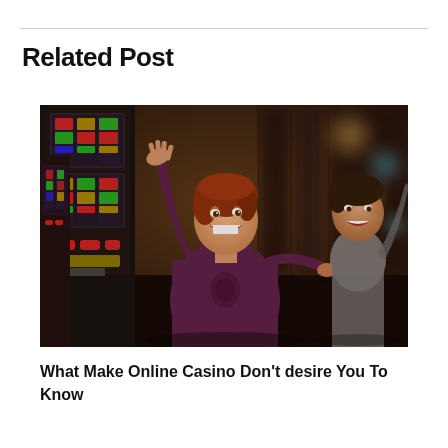Related Post
[Figure (photo): A woman with red hair wearing a dark purple top celebrating at a slot machine in a casino, arms raised in excitement, smiling broadly. A man behind her is also smiling. Multiple slot machines are visible in the background with blurred casino lighting.]
What Make Online Casino Don't desire You To Know